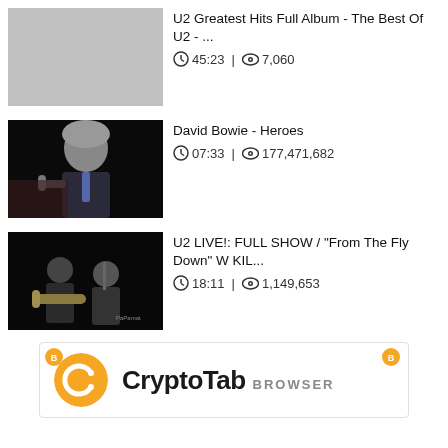[Figure (screenshot): Thumbnail placeholder – grey rectangle for U2 Greatest Hits video]
U2 Greatest Hits Full Album - The Best Of U2 - ...
45:23 | 7,060
[Figure (photo): David Bowie performing on stage, holding microphone, dark background]
David Bowie - Heroes
07:33 | 177,471,682
[Figure (photo): U2 live concert photo, two performers on dark stage with guitar]
U2 LIVE!: FULL SHOW / "From The Fly Down" W KIL...
18:11 | 1,149,653
[Figure (logo): CryptoTab Browser advertisement banner with orange C logo]